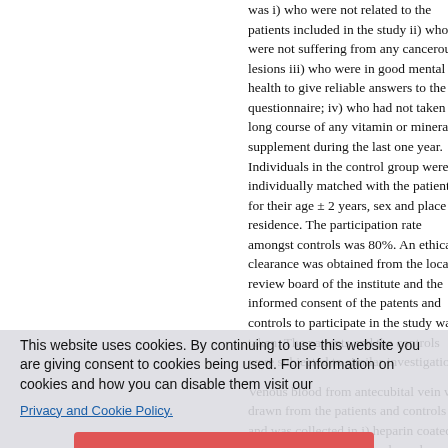was i) who were not related to the patients included in the study ii) who were not suffering from any cancerous lesions iii) who were in good mental health to give reliable answers to the questionnaire; iv) who had not taken long course of any vitamin or mineral supplement during the last one year. Individuals in the control group were individually matched with the patients for their age ± 2 years, sex and place of residence. The participation rate amongst controls was 80%. An ethical clearance was obtained from the local review board of the institute and the informed consent of the patents and controls to participate in the study was taken. The patients and the controls were subjected to similar investigations.
Venous blood from antecubital vein was drawn from the patients and controls and was collected in i) heparin coated and ii) uncoated amber coloured polypropylene tubes for separation of plasma and serum, respectively. The tubes were flushed with nitrogen for 30-60 seconds and tightly capped prior to blood collection. The tubes were placed in an ice box and transported for centrifugation. The samples were centrifuged at 3500 rpm at 40C for 30 minutes for the collection of sera and plasma.
This website uses cookies. By continuing to use this website you are giving consent to cookies being used. For information on cookies and how you can disable them visit our
Privacy and Cookie Policy.
AGREE & PROCEED